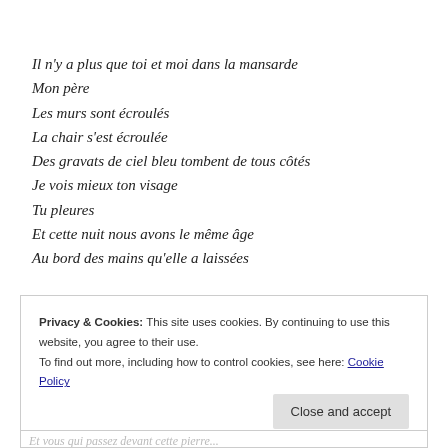Il n'y a plus que toi et moi dans la mansarde
Mon père
Les murs sont écroulés
La chair s'est écroulée
Des gravats de ciel bleu tombent de tous côtés
Je vois mieux ton visage
Tu pleures
Et cette nuit nous avons le même âge
Au bord des mains qu'elle a laissées
Privacy & Cookies: This site uses cookies. By continuing to use this website, you agree to their use.
To find out more, including how to control cookies, see here: Cookie Policy
Close and accept